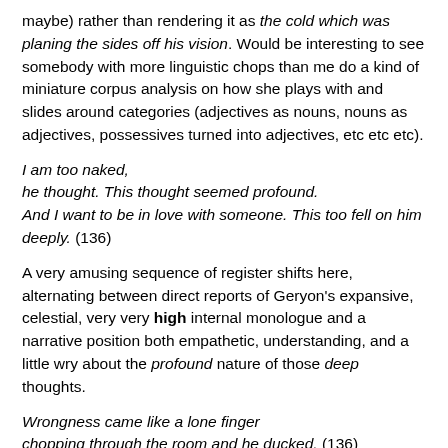maybe) rather than rendering it as the cold which was planing the sides off his vision. Would be interesting to see somebody with more linguistic chops than me do a kind of miniature corpus analysis on how she plays with and slides around categories (adjectives as nouns, nouns as adjectives, possessives turned into adjectives, etc etc etc).
I am too naked,
he thought. This thought seemed profound.
And I want to be in love with someone. This too fell on him deeply. (136)
A very amusing sequence of register shifts here, alternating between direct reports of Geryon's expansive, celestial, very very high internal monologue and a narrative position both empathetic, understanding, and a little wry about the profound nature of those deep thoughts.
Wrongness came like a lone finger
chopping through the room and he ducked. (136)
Wrongness is another interesting abstraction, equally active